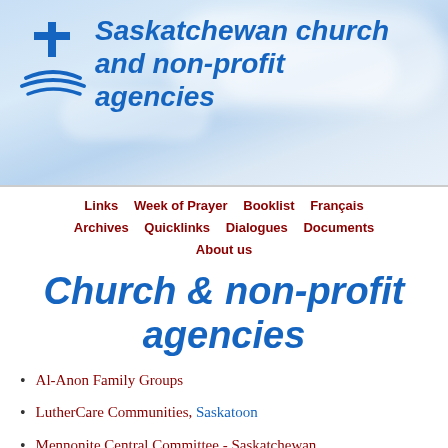[Figure (logo): Cross and boat/wave symbol logo in blue]
Saskatchewan church and non-profit agencies
Links   Week of Prayer   Booklist   Français   Archives   Quicklinks   Dialogues   Documents   About us
Church & non-profit agencies
Al-Anon Family Groups
LutherCare Communities, Saskatoon
Mennonite Central Committee - Saskatchewan